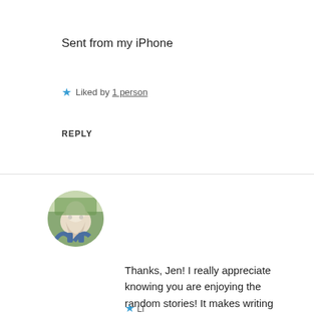Sent from my iPhone
★ Liked by 1 person
REPLY
[Figure (photo): Circular avatar photo of a person sitting outdoors]
Thanks, Jen! I really appreciate knowing you are enjoying the random stories! It makes writing them so much more rewarding.
★ Li…